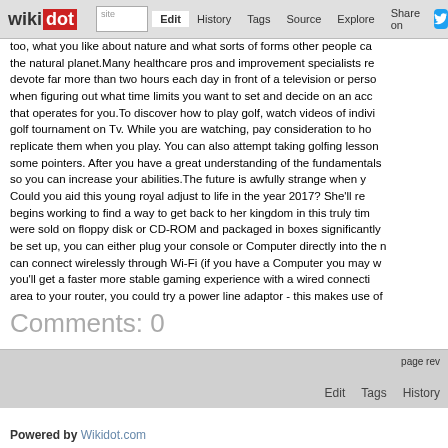wikidot | site | Edit | History | Tags | Source | Explore | Share on
too, what you like about nature and what sorts of forms other people can the natural planet.Many healthcare pros and improvement specialists re devote far more than two hours each day in front of a television or perso when figuring out what time limits you want to set and decide on an acc that operates for you.To discover how to play golf, watch videos of indivi golf tournament on Tv. While you are watching, pay consideration to ho replicate them when you play. You can also attempt taking golfing lesson some pointers. After you have a great understanding of the fundamentals so you can increase your abilities.The future is awfully strange when y Could you aid this young royal adjust to life in the year 2017? She'll re begins working to find a way to get back to her kingdom in this truly tim were sold on floppy disk or CD-ROM and packaged in boxes significantly be set up, you can either plug your console or Computer directly into the n can connect wirelessly through Wi-Fi (if you have a Computer you may w you'll get a faster more stable gaming experience with a wired connecti area to your router, you could try a power line adaptor - this makes use of
Comments: 0
Add a New Comment
page rev | Edit | Tags | History
Powered by Wikidot.com